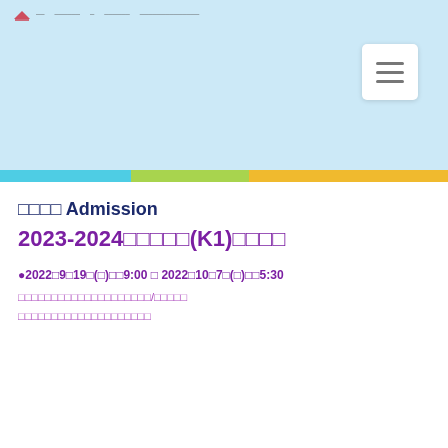School Admission 2023-2024 navigation header with logo and hamburger menu
學校名稱 Admission
2023-2024年度幼兒班(K1)入學申請
●2022年9月19日(一)早9:00 至 2022年10月7日(五)下午5:30
申請表格可於辦公時間內到校索取或於學校網頁/學校社交媒體下載
填妥表格後請於辦公時間內親身交回本校